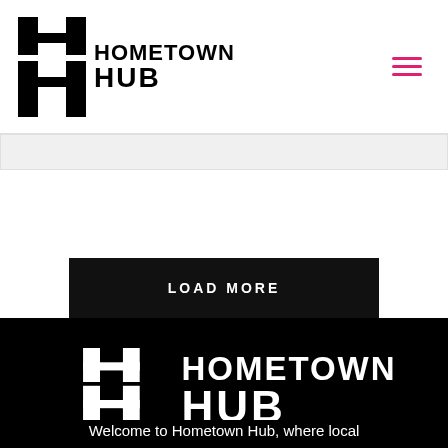HOMETOWN HUB
[Figure (logo): Hometown Hub logo with H-shaped icon and text 'HOMETOWN HUB' in black on white background with hamburger menu icon in pink]
LOAD MORE
[Figure (logo): Hometown Hub logo large white on black background]
Welcome to Hometown Hub, where local goes digital! Hometown Hub is your one-stop